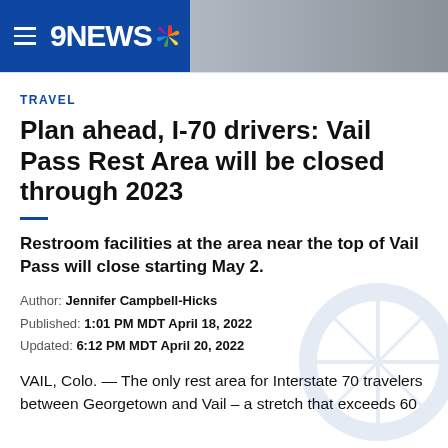9NEWS
TRAVEL
Plan ahead, I-70 drivers: Vail Pass Rest Area will be closed through 2023
Restroom facilities at the area near the top of Vail Pass will close starting May 2.
Author: Jennifer Campbell-Hicks
Published: 1:01 PM MDT April 18, 2022
Updated: 6:12 PM MDT April 20, 2022
VAIL, Colo. — The only rest area for Interstate 70 travelers between Georgetown and Vail – a stretch that exceeds 60